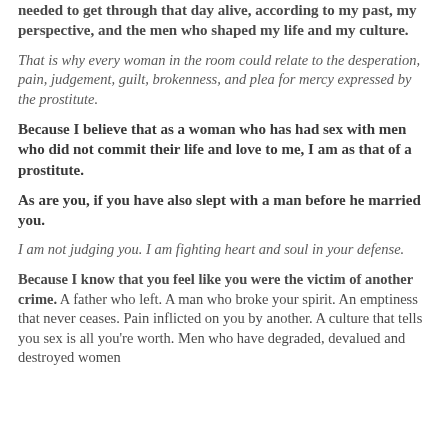needed to get through that day alive, according to my past, my perspective, and the men who shaped my life and my culture.
That is why every woman in the room could relate to the desperation, pain, judgement, guilt, brokenness, and plea for mercy expressed by the prostitute.
Because I believe that as a woman who has had sex with men who did not commit their life and love to me, I am as that of a prostitute.
As are you, if you have also slept with a man before he married you.
I am not judging you. I am fighting heart and soul in your defense.
Because I know that you feel like you were the victim of another crime. A father who left. A man who broke your spirit. An emptiness that never ceases. Pain inflicted on you by another. A culture that tells you sex is all you're worth. Men who have degraded, devalued and destroyed women